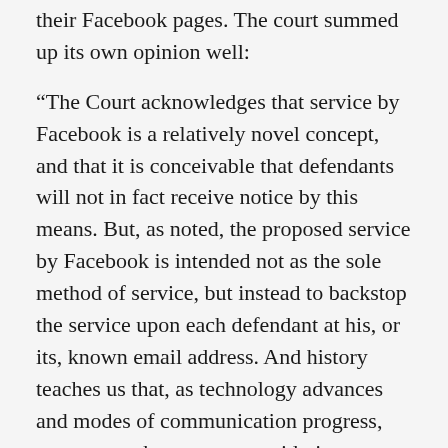their Facebook pages. The court summed up its own opinion well:
“The Court acknowledges that service by Facebook is a relatively novel concept, and that it is conceivable that defendants will not in fact receive notice by this means. But, as noted, the proposed service by Facebook is intended not as the sole method of service, but instead to backstop the service upon each defendant at his, or its, known email address. And history teaches us that, as technology advances and modes of communication progress, courts must be open to considering requests to authorize service via technological means of then-recent vintage, rather than dismissing them out of hand as novel.”
The court distinguished these facts from an earlier S.D.N.Y. decision denying a motion for service via